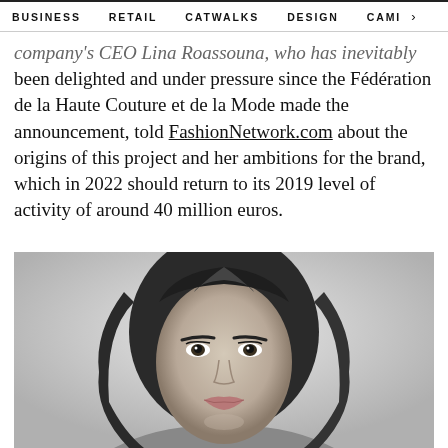BUSINESS   RETAIL   CATWALKS   DESIGN   CAMI  >
company's CEO Lina Roassouna, who has inevitably been delighted and under pressure since the Fédération de la Haute Couture et de la Mode made the announcement, told FashionNetwork.com about the origins of this project and her ambitions for the brand, which in 2022 should return to its 2019 level of activity of around 40 million euros.
[Figure (photo): Black and white portrait photograph of a woman with medium-length dark hair, looking slightly off-camera, against a light background.]